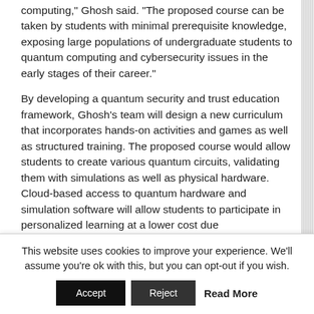computing," Ghosh said. "The proposed course can be taken by students with minimal prerequisite knowledge, exposing large populations of undergraduate students to quantum computing and cybersecurity issues in the early stages of their career."
By developing a quantum security and trust education framework, Ghosh's team will design a new curriculum that incorporates hands-on activities and games as well as structured training. The proposed course would allow students to create various quantum circuits, validating them with simulations as well as physical hardware. Cloud-based access to quantum hardware and simulation software will allow students to participate in personalized learning at a lower cost due
This website uses cookies to improve your experience. We'll assume you're ok with this, but you can opt-out if you wish.